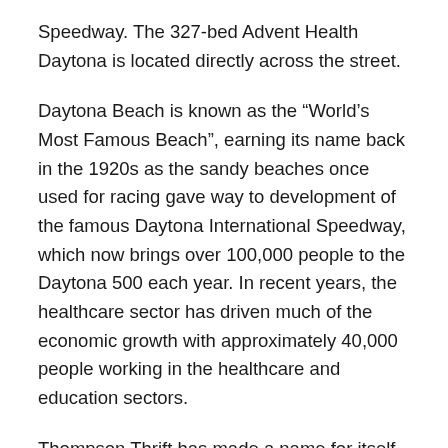Speedway. The 327-bed Advent Health Daytona is located directly across the street.
Daytona Beach is known as the “World’s Most Famous Beach”, earning its name back in the 1920s as the sandy beaches once used for racing gave way to development of the famous Daytona International Speedway, which now brings over 100,000 people to the Daytona 500 each year. In recent years, the healthcare sector has driven much of the economic growth with approximately 40,000 people working in the healthcare and education sectors.
Thompson Thrift has made a name for itself by being one of the few developers to build Class A residential communities in markets across the